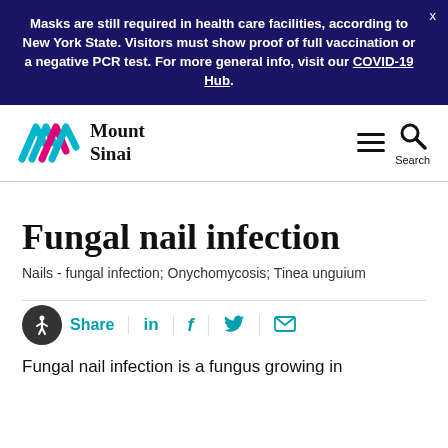Masks are still required in health care facilities, according to New York State. Visitors must show proof of full vaccination or a negative PCR test. For more general info, visit our COVID-19 Hub.
[Figure (logo): Mount Sinai logo with multicolored M-shape chevrons and 'Mount Sinai' text]
Fungal nail infection
Nails - fungal infection; Onychomycosis; Tinea unguium
Share
Fungal nail infection is a fungus growing in